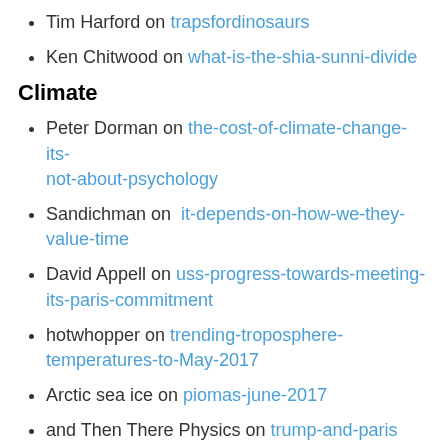Tim Harford on trapsfordinosaurs
Ken Chitwood on what-is-the-shia-sunni-divide
Climate
Peter Dorman on the-cost-of-climate-change-its-not-about-psychology
Sandichman on  it-depends-on-how-we-they-value-time
David Appell on uss-progress-towards-meeting-its-paris-commitment
hotwhopper on trending-troposphere-temperatures-to-May-2017
Arctic sea ice on piomas-june-2017
and Then There Physics on trump-and-paris
Andrew King on winter-warmth-is-in-the-forecast-but-dont-celebrate-yet
Christine Gallagher on trump-has-compromised-climate-security-strategies
Moyhu on may-global-temperature-unchanged-